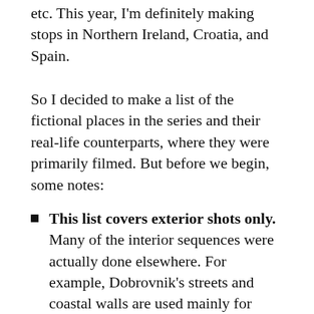etc. This year, I'm definitely making stops in Northern Ireland, Croatia, and Spain.
So I decided to make a list of the fictional places in the series and their real-life counterparts, where they were primarily filmed. But before we begin, some notes:
This list covers exterior shots only. Many of the interior sequences were actually done elsewhere. For example, Dobrovnik's streets and coastal walls are used mainly for King's Landing, but interior shots (Red Keep, Iron Throne, etc.) are done in sets in Northern Ireland.
This is not 1:1. King's Landing may be filmed mainly in Dubrovnik, but they also took supplementary footage of Essaouira and Malta as